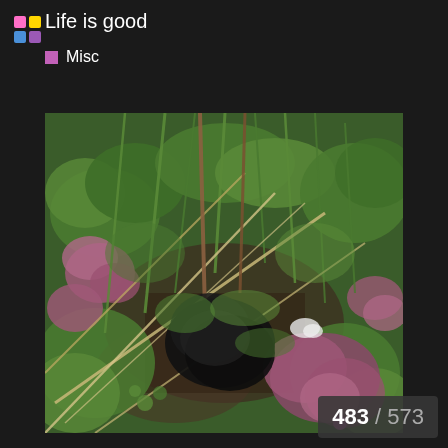Life is good
Misc
[Figure (photo): A black animal (likely a puppy or small dog) partially hidden among dense green vegetation, clover-like plants, and pink-purple flowers. The animal is mostly obscured by blades of grass and leafy plants.]
483 / 573